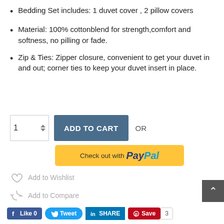Bedding Set includes: 1 duvet cover , 2 pillow covers
Material: 100% cotton⁠blend for strength,comfort and softness, no pilling or fade.
Zip & Ties: Zipper closure, convenient to get your duvet in and out; corner ties to keep your duvet insert in place.
[Figure (screenshot): E-commerce product page UI showing: quantity selector showing 1, ADD TO CART button, OR text, Check out with PayPal button, Add to Wishlist link, Add to Compare link, Email to a Friend link, social share bar with Like 0, Tweet, SHARE, Save 3 buttons, and a scroll-to-top arrow button.]